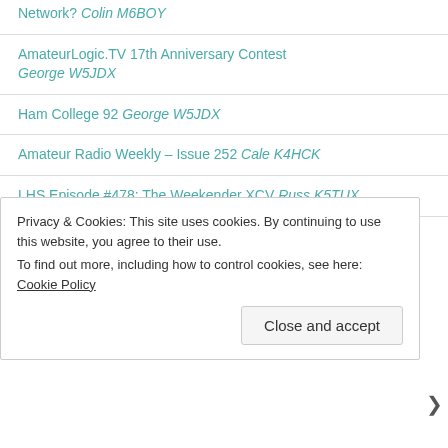Network? Colin M6BOY
AmateurLogic.TV 17th Anniversary Contest George W5JDX
Ham College 92 George W5JDX
Amateur Radio Weekly – Issue 252 Cale K4HCK
LHS Episode #478: The Weekender XCV Russ K5TUX
Hunting For NDBs In CLE283 Steve VE7SL
Privacy & Cookies: This site uses cookies. By continuing to use this website, you agree to their use. To find out more, including how to control cookies, see here: Cookie Policy
Close and accept